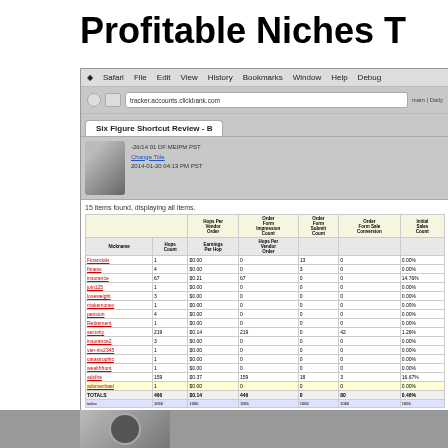Profitable Niches T
[Figure (screenshot): Screenshot of a Safari browser window showing 'Six Figure Shortcut Review' page with a ClickBank analytics table showing hop counts, earnings, order impressions, and conversion rates for various niches. A YouTube video embed is overlaid showing a person speaking to camera with 'Watch on YouTube' button. Right side shows 'extremely simple' text. Bottom shows partial browser/website content.]